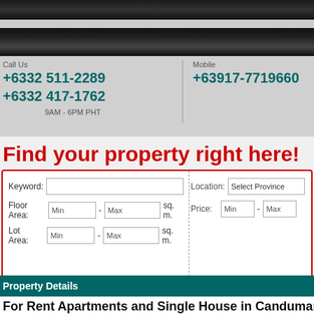[Figure (screenshot): Top navigation bar (black gradient)]
Call Us
+6332 511-2289
+6332 417-1762
9AM - 6PM PHT
Mobile
+63917-7719660
Find your property right here!
Keyword: [input] Floor Area: Min - Max sq. m. Lot Area: Min - Max sq. m.
Location: Select Province Price: Min - Max
Property Details
For Rent Apartments and Single House in Canduman